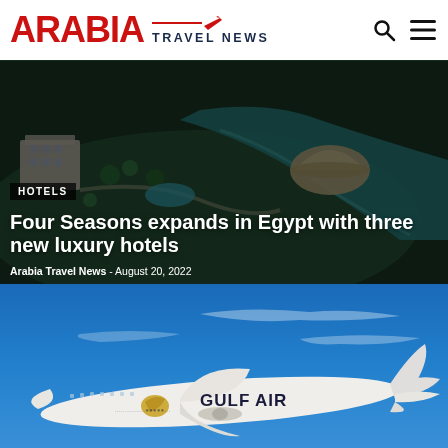ARABIA TRAVEL NEWS
[Figure (photo): Aerial view of a luxury resort with buildings, pools, green gardens, and a river/lake with a modern shell-shaped structure, Egypt]
HOTELS
Four Seasons expands in Egypt with three new luxury hotels
Arabia Travel News - August 20, 2022
[Figure (photo): Gulf Air Boeing 787 Dreamliner aircraft in flight against a blue sky with light clouds, white livery with gold Gulf Air logo and text]